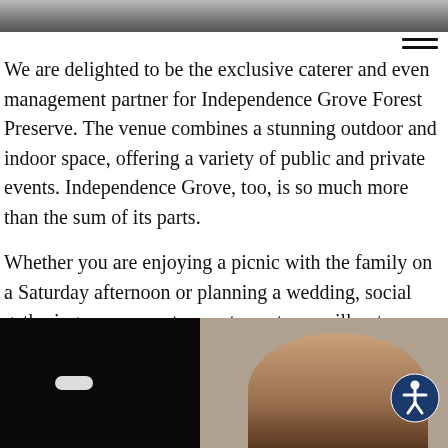[Figure (photo): Top partial photo of an outdoor or indoor venue scene, cropped at top of page]
We are delighted to be the exclusive caterer and even management partner for Independence Grove Forest Preserve. The venue combines a stunning outdoor and indoor space, offering a variety of public and private events. Independence Grove, too, is so much more than the sum of its parts.
Whether you are enjoying a picnic with the family on a Saturday afternoon or planning a wedding, social gathering, or corporate event, our team will put together a menu which suits your needs.
[Figure (photo): Bottom partial photo showing a person (dark hair) against a dark background with a small bright light on the left side]